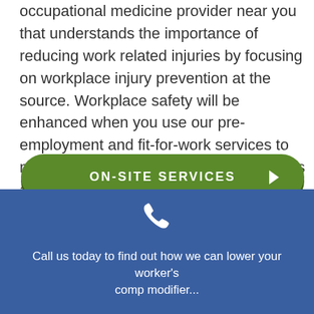occupational medicine provider near you that understands the importance of reducing work related injuries by focusing on workplace injury prevention at the source. Workplace safety will be enhanced when you use our pre-employment and fit-for-work services to make sure that your potential employee is actually fit for the task at hand.
ON-SITE SERVICES ▶
[Figure (illustration): White phone icon on blue background]
Call us today to find out how we can lower your worker's comp modifier...